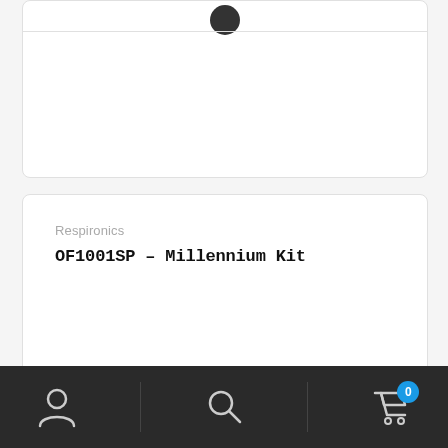[Figure (photo): Partial product card with a dark circular product image at top, with a horizontal divider line below it, white card background]
Respironics
OF1001SP – Millennium Kit
[Figure (photo): Two dark blurred product images (device components) at the bottom of a product listing card]
We use cookies on our website to give you the most relevant experience by remembering your preferences and repeat visits. By clicking “Accept”, you consent to the use of ALL the cookies.
Do not sell my personal information.
[Figure (screenshot): Bottom navigation bar with user/account icon, search icon, and cart icon with badge showing 0]